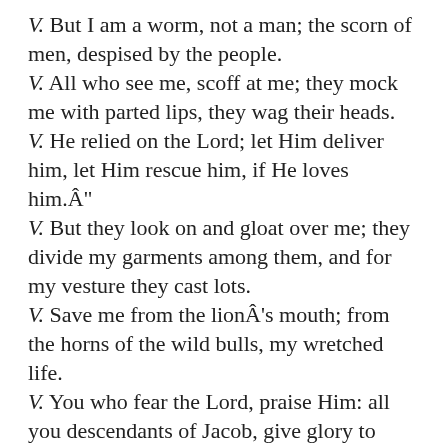V. But I am a worm, not a man; the scorn of men, despised by the people.
V. All who see me, scoff at me; they mock me with parted lips, they wag their heads.
V. He relied on the Lord; let Him deliver him, let Him rescue him, if He loves him.Â"
V. But they look on and gloat over me; they divide my garments among them, and for my vesture they cast lots.
V. Save me from the lionÂ's mouth; from the horns of the wild bulls, my wretched life.
V. You who fear the Lord, praise Him: all you descendants of Jacob, give glory to Him.
V. There shall be declared to the Lord a generation to come: and the heavens shall